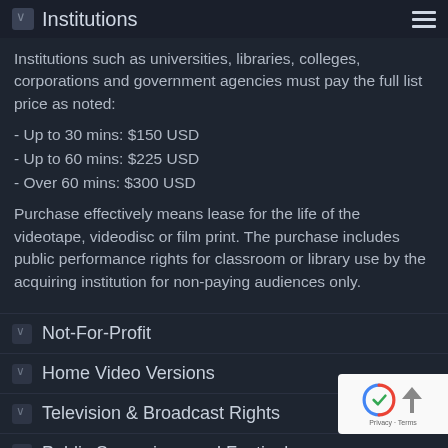Institutions
Institutions such as universities, libraries, colleges, corporations and government agencies must pay the full list price as noted:
- Up to 30 mins: $150 USD
- Up to 60 mins: $225 USD
- Over 60 mins: $300 USD
Purchase effectively means lease for the life of the videotape, videodisc or film print. The purchase includes public performance rights for classroom or library use by the acquiring institution for non-paying audiences only.
Not-For-Profit
Home Video Versions
Television & Broadcast Rights
Public Screenings and Festivals
Bulk Buying